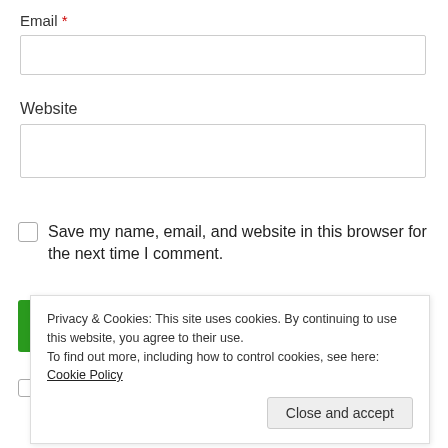Email *
Website
Save my name, email, and website in this browser for the next time I comment.
POST COMMENT
Notify me of new comments via email
Privacy & Cookies: This site uses cookies. By continuing to use this website, you agree to their use.
To find out more, including how to control cookies, see here: Cookie Policy
Close and accept